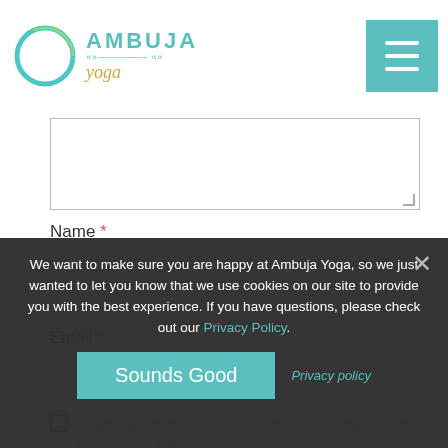[Figure (logo): Ambuja Yoga logo with teal circle and text]
Name *
Email *
Website
We want to make sure you are happy at Ambuja Yoga, so we just wanted to let you know that we use cookies on our site to provide you with the best experience. If you have questions, please check out our Privacy Policy.
Sounds Good
Privacy policy
Save my name, email, and website in this browser for the next time I comment.